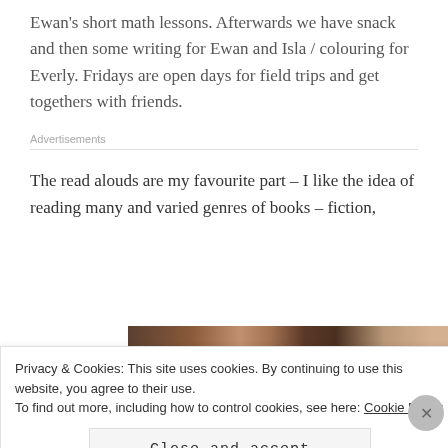Ewan's short math lessons. Afterwards we have snack and then some writing for Ewan and Isla / colouring for Everly. Fridays are open days for field trips and get togethers with friends.
Advertisements
The read alouds are my favourite part – I like the idea of reading many and varied genres of books – fiction,
[Figure (photo): Photo of bookshelves with books]
Privacy & Cookies: This site uses cookies. By continuing to use this website, you agree to their use. To find out more, including how to control cookies, see here: Cookie Policy
Close and accept